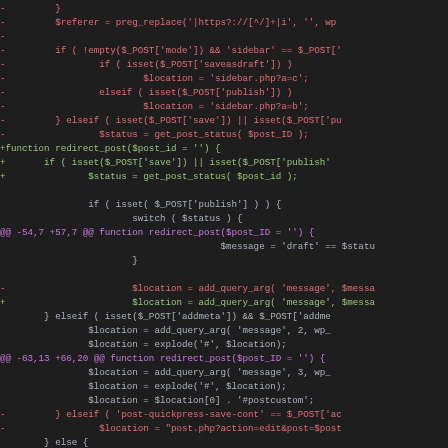[Figure (screenshot): Code diff view showing PHP code changes with red lines for removed code, green lines for added code, purple lines for diff hunk headers, and gray/white lines for context code]